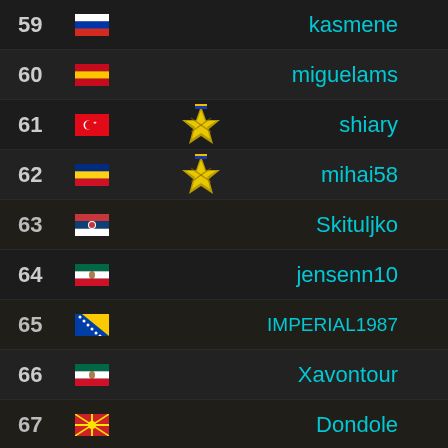59 [Russia flag] kasmene
60 [Spain flag] miguelams
61 [Turkey flag] [medal] shiary
62 [Romania flag] [medal] mihai58
63 [Serbia flag] Skituljko
64 [Mexico flag] jensenn10
65 [Bosnia flag] IMPERIAL1987
66 [Mexico flag] Xavontour
67 [North Macedonia flag] Dondole